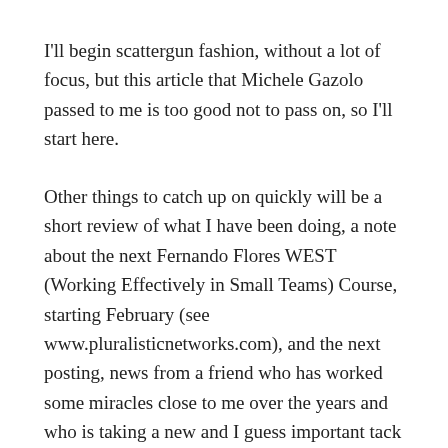I'll begin scattergun fashion, without a lot of focus, but this article that Michele Gazolo passed to me is too good not to pass on, so I'll start here.
Other things to catch up on quickly will be a short review of what I have been doing, a note about the next Fernando Flores WEST (Working Effectively in Small Teams) Course, starting February (see www.pluralisticnetworks.com), and the next posting, news from a friend who has worked some miracles close to me over the years and who is taking a new and I guess important tack on Parkinson's Disease.
Looking forward to be back in touch with many of you shortly.